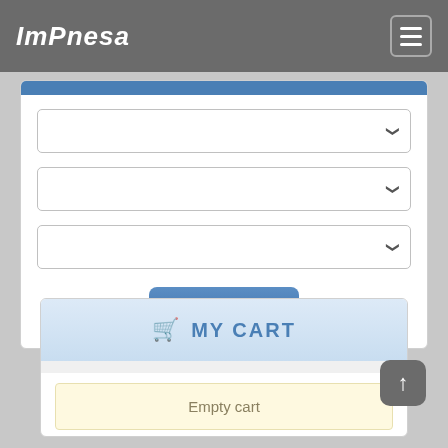ImPnesa
[Figure (screenshot): Three dropdown select boxes for search filters]
[Figure (screenshot): Search button with magnifying glass icon]
MY CART
Empty cart